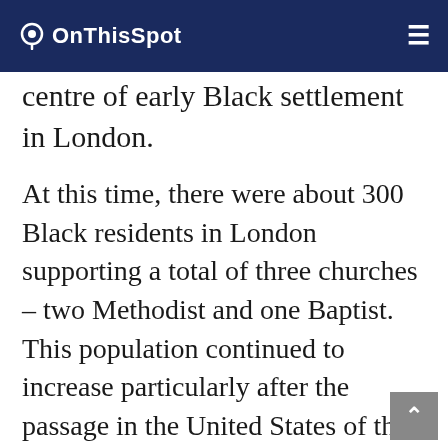OnThisSpot
centre of early Black settlement in London.
At this time, there were about 300 Black residents in London supporting a total of three churches – two Methodist and one Baptist. This population continued to increase particularly after the passage in the United States of the Fugitive Slave Act in 1850. The Act was one reason that caused the Canadian AME churches to break away from their American parent in 1856 and form the British Methodist Episcopal (BME) Church.